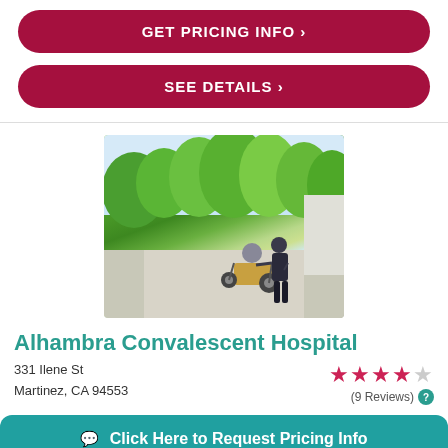GET PRICING INFO >
SEE DETAILS >
[Figure (photo): Caregiver pushing elderly person in wheelchair outdoors on a paved path surrounded by green trees]
Alhambra Convalescent Hospital
331 Ilene St
Martinez, CA 94553
3.5 stars (9 Reviews)
Click Here to Request Pricing Info